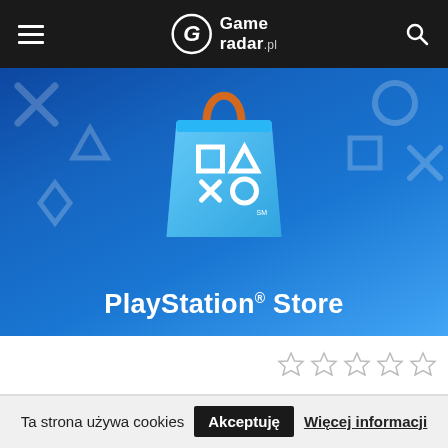GameRadar.pl
[Figure (screenshot): PlayStation Store banner with shopping bag logo featuring square, triangle, X and circle symbols on blue background with text 'PlayStation Store']
[Figure (other): Five empty star rating icons]
Ta strona używa cookies  Akceptuję  Więcej informacji